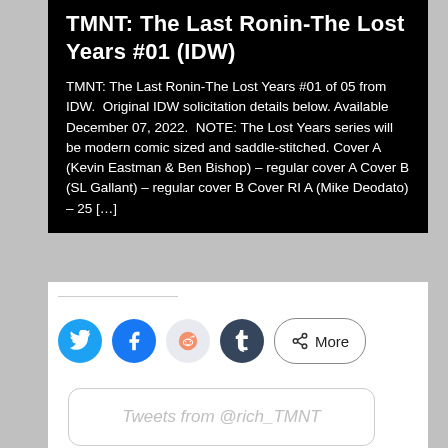TMNT: The Last Ronin-The Lost Years #01 (IDW)
TMNT: The Last Ronin-The Lost Years #01 of 05 from IDW.  Original IDW solicitation details below. Available December 07, 2022.  NOTE: The Lost Years series will be modern comic sized and saddle-stitched. Cover A (Kevin Eastman & Ben Bishop) – regular cover A Cover B (SL Gallant) – regular cover B Cover RI A (Mike Deodato) – 25 [...]
[Figure (other): Social share buttons row: Twitter (blue circle), Facebook (blue circle), Reddit (light gray circle), Tumblr (dark navy circle), and a More button with share icon]
Tweets from @rich_TMNT